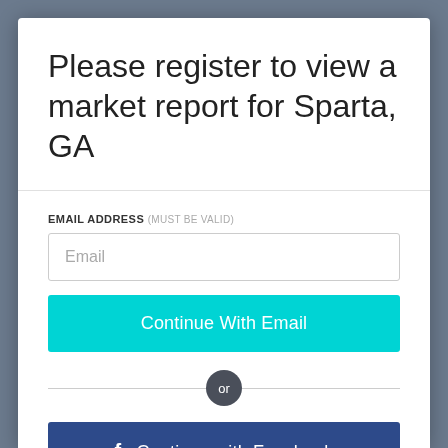Please register to view a market report for Sparta, GA
EMAIL ADDRESS (MUST BE VALID)
Email
Continue With Email
or
Continue with Facebook